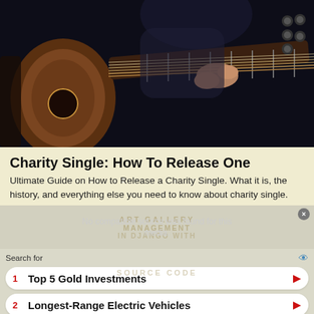[Figure (photo): Close-up photo of a person's hands playing an acoustic guitar against a dark background]
Charity Single: How To Release One
Ultimate Guide on How to Release a Charity Single. What it is, the history, and everything else you need to know about charity single.
[Figure (screenshot): Video player overlay showing 'No compatible source was found for this media.' message with a close button in top right corner]
Search for
1  Top 5 Gold Investments
2  Longest-Range Electric Vehicles
Yahoo! Search | Sponsored